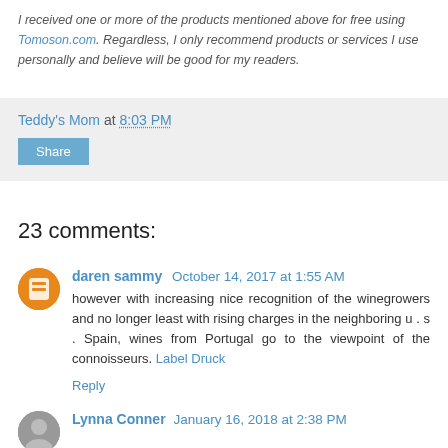I received one or more of the products mentioned above for free using Tomoson.com. Regardless, I only recommend products or services I use personally and believe will be good for my readers.
Teddy's Mom at 8:03 PM
Share
23 comments:
daren sammy October 14, 2017 at 1:55 AM
however with increasing nice recognition of the winegrowers and no longer least with rising charges in the neighboring u . s . Spain, wines from Portugal go to the viewpoint of the connoisseurs. Label Druck
Reply
Lynna Conner January 16, 2018 at 2:38 PM